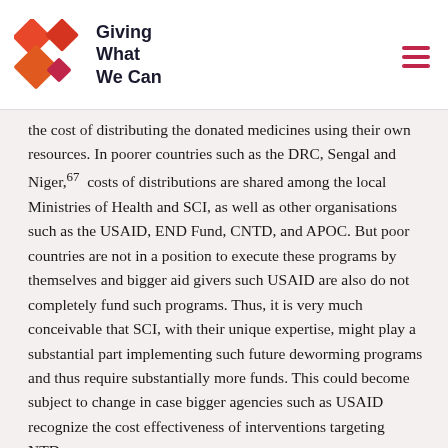Giving What We Can
the cost of distributing the donated medicines using their own resources. In poorer countries such as the DRC, Sengal and Niger,⁶⁷  costs of distributions are shared among the local Ministries of Health and SCI, as well as other organisations such as the USAID, END Fund, CNTD, and APOC. But poor countries are not in a position to execute these programs by themselves and bigger aid givers such USAID are also do not completely fund such programs. Thus, it is very much conceivable that SCI, with their unique expertise, might play a substantial part implementing such future deworming programs and thus require substantially more funds. This could become subject to change in case bigger agencies such as USAID recognize the cost effectiveness of interventions targeting NTDs.